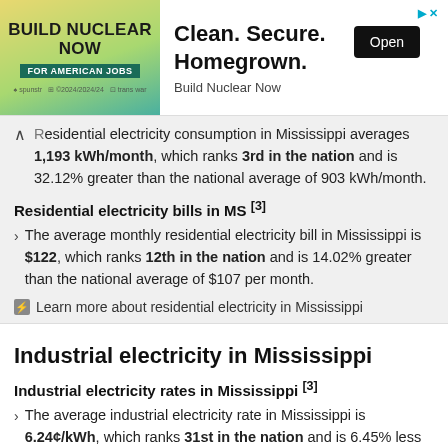[Figure (infographic): Advertisement banner: Build Nuclear Now - For American Jobs. Clean. Secure. Homegrown. Open button.]
Residential electricity consumption in Mississippi averages 1,193 kWh/month, which ranks 3rd in the nation and is 32.12% greater than the national average of 903 kWh/month.
Residential electricity bills in MS [3]
The average monthly residential electricity bill in Mississippi is $122, which ranks 12th in the nation and is 14.02% greater than the national average of $107 per month.
⚡ Learn more about residential electricity in Mississippi
Industrial electricity in Mississippi
Industrial electricity rates in Mississippi [3]
The average industrial electricity rate in Mississippi is 6.24¢/kWh, which ranks 31st in the nation and is 6.45% less than the national average of 6.67¢/kWh.